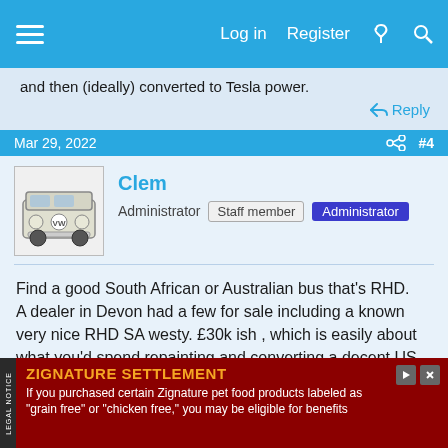Log in  Register
and then (ideally) converted to Tesla power.
Mar 29, 2022  #4
Clem
Administrator  Staff member  Administrator
Find a good South African or Australian bus that's RHD. A dealer in Devon had a few for sale including a known very nice RHD SA westy. £30k ish , which is easily about what you'd spend repainting and converting a decent US bus.
ZIGNATURE SETTLEMENT
If you purchased certain Zignature pet food products labeled as "grain free" or "chicken free," you may be eligible for benefits